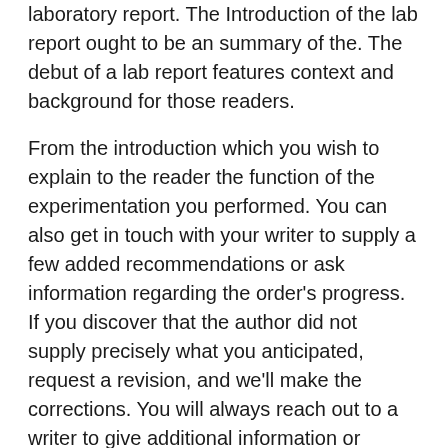laboratory report. The Introduction of the lab report ought to be an summary of the. The debut of a lab report features context and background for those readers.
From the introduction which you wish to explain to the reader the function of the experimentation you performed. You can also get in touch with your writer to supply a few added recommendations or ask information regarding the order's progress. If you discover that the author did not supply precisely what you anticipated, request a revision, and we'll make the corrections. You will always reach out to a writer to give additional information or request information concerning the order's progress. writingbee.com After the writer is appointed, they begin working on your composition based on the requirements you have specified on your purchase. Our talented writers can cope with almost every sort of writing assignment, along with Math and Physics difficulties and a lot more.
When you discuss the grade of your data, the reader ought to be in a place to draw conclusions from your results. The standard of a composition introduction often determines whether the essay becomes read at the very first spot. Our